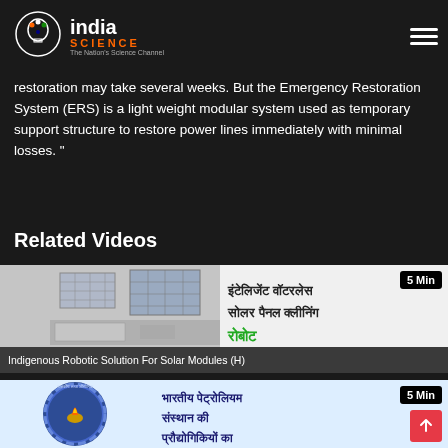India Science - The Nation's Science Channel
restoration may take several weeks. But the Emergency Restoration System (ERS) is a light weight modular system used as temporary support structure to restore power lines immediately with minimal losses."
Related Videos
[Figure (screenshot): Video thumbnail for 'Indigenous Robotic Solution For Solar Modules (H)' showing solar panels and Hindi text 'इंटेलिजेंट वॉटरलेस सोलर पैनल क्लीनिंग रोबोट' with 5 Min badge]
Indigenous Robotic Solution For Solar Modules (H)
[Figure (screenshot): Video thumbnail showing CSIR-IIP logo and Hindi text 'भारतीय पेट्रोलियम संस्थान की प्रौद्योगिकियों का' with 5 Min badge]